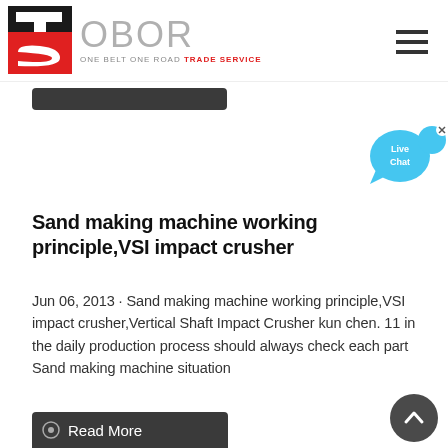[Figure (logo): OBOR Trade Service logo with red and black TS icon and grey OBOR text, tagline ONE BELT ONE ROAD TRADE SERVICE]
Sand making machine working principle,VSI impact crusher
Jun 06, 2013 · Sand making machine working principle,VSI impact crusher,Vertical Shaft Impact Crusher kun chen. 11 in the daily production process should always check each part Sand making machine situation